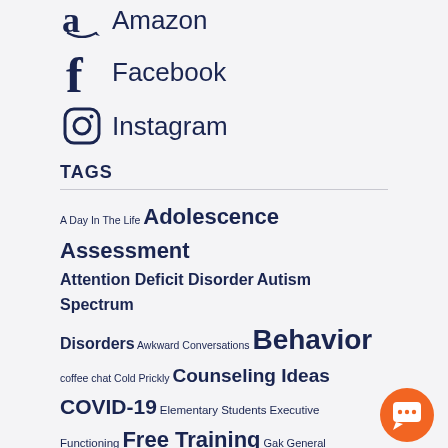Amazon
Facebook
Instagram
TAGS
A Day In The Life Adolescence Assessment Attention Deficit Disorder Autism Spectrum Disorders Awkward Conversations Behavior coffee chat Cold Prickly Counseling Ideas COVID-19 Elementary Students Executive Functioning Free Training Gak General Tomfoolery Issues in the Field learning disabilities Me-Monster Mindfulness Motivation online professional development Parenting